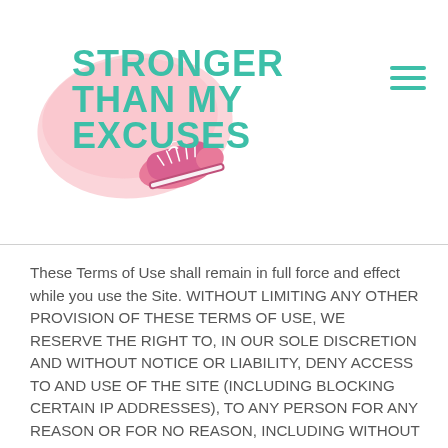[Figure (logo): Stronger Than My Excuses logo with pink watercolor brush stroke background, teal bold uppercase text, and pink sneaker illustration]
These Terms of Use shall remain in full force and effect while you use the Site. WITHOUT LIMITING ANY OTHER PROVISION OF THESE TERMS OF USE, WE RESERVE THE RIGHT TO, IN OUR SOLE DISCRETION AND WITHOUT NOTICE OR LIABILITY, DENY ACCESS TO AND USE OF THE SITE (INCLUDING BLOCKING CERTAIN IP ADDRESSES), TO ANY PERSON FOR ANY REASON OR FOR NO REASON, INCLUDING WITHOUT LIMITATION FOR BREACH OF ANY REPRESENTATION, WARRANTY, OR COVENANT CONTAINED IN THESE TERMS OF USE OR OF ANY APPLICABLE LAW OR REGULATION. WE MAY TERMINATE YOUR USE OR PARTICIPATION IN THE SITE OR DELETE ANY CONTENT OR INFORMATION THAT YOU POSTED AT ANY TIME, WITHOUT